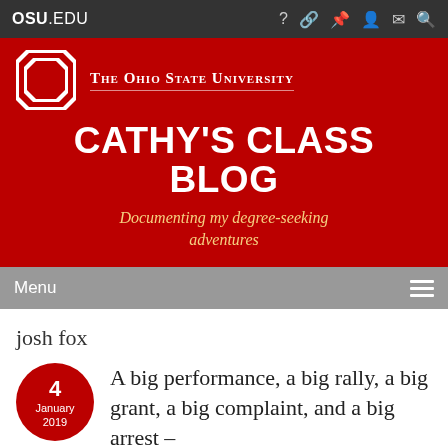OSU.EDU
CATHY'S CLASS BLOG
Documenting my degree-seeking adventures
Menu
josh fox
4 January 2019
A big performance, a big rally, a big grant, a big complaint, and a big arrest –